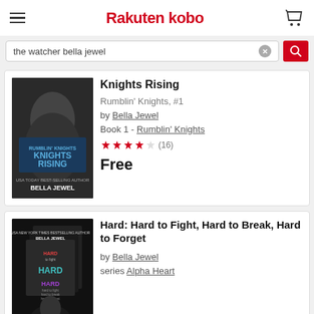Rakuten kobo
the watcher bella jewel
Knights Rising
Rumblin' Knights, #1
by Bella Jewel
Book 1 - Rumblin' Knights
★★★★☆ (16)
Free
Hard: Hard to Fight, Hard to Break, Hard to Forget
by Bella Jewel
series Alpha Heart